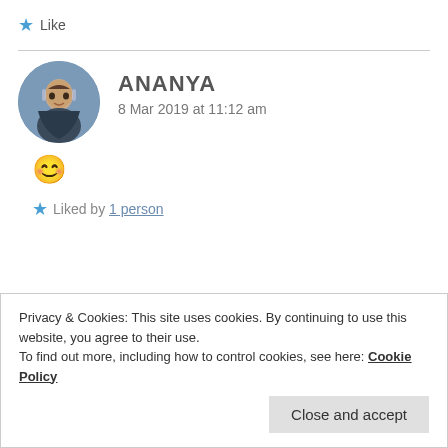★ Like
ANANYA
8 Mar 2019 at 11:12 am
😊
★ Liked by 1 person
Privacy & Cookies: This site uses cookies. By continuing to use this website, you agree to their use.
To find out more, including how to control cookies, see here: Cookie Policy
Close and accept